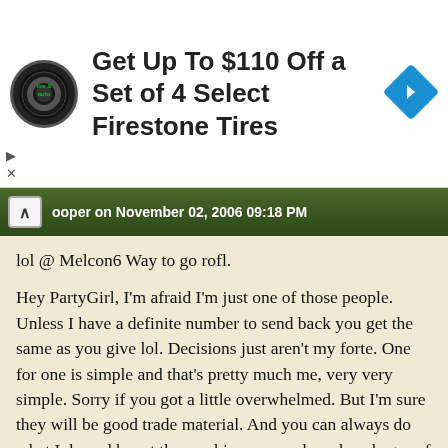[Figure (infographic): Advertisement banner: tire and auto logo, text 'Get Up To $110 Off a Set of 4 Select Firestone Tires', blue diamond arrow icon on right]
ooper on November 02, 2006 09:18 PM
lol @ Melcon6 Way to go rofl.
Hey PartyGirl, I'm afraid I'm just one of those people. Unless I have a definite number to send back you get the same as you give lol. Decisions just aren't my forte. One for one is simple and that's pretty much me, very very simple. Sorry if you got a little overwhelmed. But I'm sure they will be good trade material. And you can always do what I do and haunt the newbie room and send packages of seed to newbies or gardeners that have moved and are starting over or gardeners that have had reversals. There is always a way to find good homes for seeds.